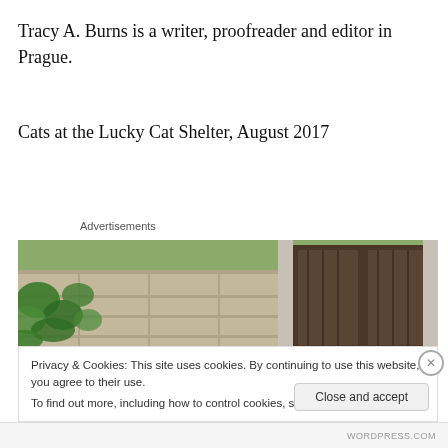Tracy A. Burns is a writer, proofreader and editor in Prague.
Cats at the Lucky Cat Shelter, August 2017
Advertisements
[Figure (photo): Outdoor scene showing stone pathway with green ivy plants on the left and a dark wooden door on the right, with stone wall. Natural outdoor setting.]
Privacy & Cookies: This site uses cookies. By continuing to use this website, you agree to their use.
To find out more, including how to control cookies, see here: Cookie Policy
Close and accept